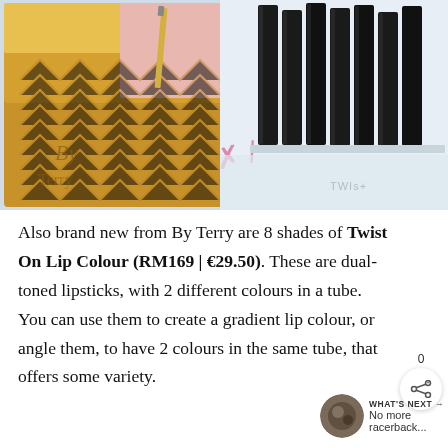[Figure (photo): Photo of By Terry makeup products: a chevron-patterned highlighter palette in gold/yellow/pink tones on the left, and multiple black lipstick tubes (Twist On Lip Colour) standing upright on the right against a light blue-white background. Pink handwritten-style marks visible in the center.]
Also brand new from By Terry are 8 shades of Twist On Lip Colour (RM169 | €29.50). These are dual-toned lipsticks, with 2 different colours in a tube. You can use them to create a gradient lip colour, or angle them, to have 2 colours in the same tube, that offers some variety.